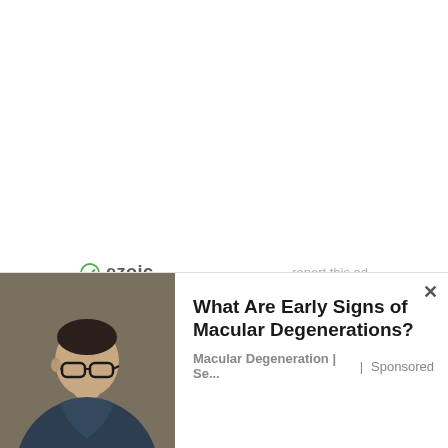[Figure (logo): Ezoic logo with green circle check icon and bold gray 'ezoic' text]
report this ad
[Figure (photo): Man with glasses holding his chin thoughtfully, wearing a dark jacket, against a gray background]
What Are Early Signs of Macular Degenerations?
Macular Degeneration | Se... | Sponsored